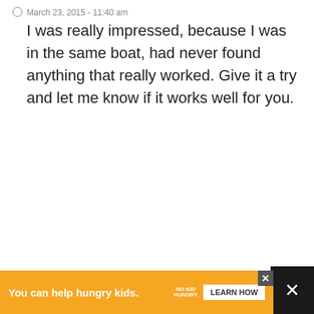March 23, 2015 - 11:40 am
I was really impressed, because I was in the same boat, had never found anything that really worked. Give it a try and let me know if it works well for you.
PARIS (MY BIG FAT HAPPY LIFE)
March 23, 2015 - 11:30 am
I am always looking for new shampoo to try. I do not color my hair but it does get dried out especially during the summer from all the time spent in the pool.
[Figure (infographic): Social sharing widget with heart/like button showing count of 1 and a share button]
[Figure (infographic): What's Next widget showing Coconut Crème Brûlée with thumbnail image]
[Figure (infographic): Orange advertisement banner: You can help hungry kids. No Kid Hungry. Learn How.]